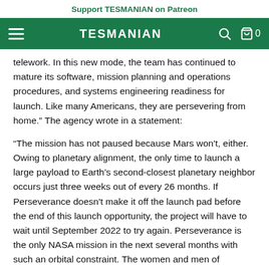Support TESMANIAN on Patreon
TESMANIAN
telework. In this new mode, the team has continued to mature its software, mission planning and operations procedures, and systems engineering readiness for launch. Like many Americans, they are persevering from home.” The agency wrote in a statement:
“The mission has not paused because Mars won't, either. Owing to planetary alignment, the only time to launch a large payload to Earth’s second-closest planetary neighbor occurs just three weeks out of every 26 months. If Perseverance doesn't make it off the launch pad before the end of this launch opportunity, the project will have to wait until September 2022 to try again. Perseverance is the only NASA mission in the next several months with such an orbital constraint. The women and men of